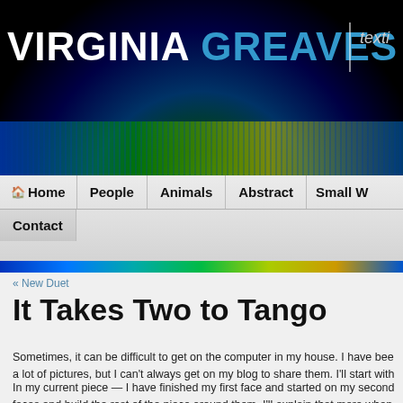VIRGINIA GREAVES | texti
[Figure (screenshot): Website navigation bar with Home, People, Animals, Abstract, Small W, Contact menu items]
« New Duet
It Takes Two to Tango
Sometimes, it can be difficult to get on the computer in my house. I have bee a lot of pictures, but I can't always get on my blog to share them. I'll start with
In my current piece — I have finished my first face and started on my second faces and build the rest of the piece around them. I'll explain that more when the faces.
These are the first two values in my second face.